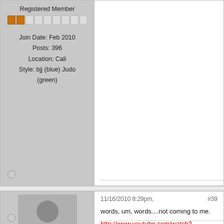Registered Member
Join Date: Feb 2010
Posts: 396
Location: Cali
Style: bjj (blue) Judo (green)
11/16/2010 8:29pm,
#39
words, um, words....not coming to me.
http://www.youtube.com/watch?v=jgvp8...eature=related
kismasher
Light Heavyweight
Join Date: Jun 2003
Posts: 2525
Location: NW Arkansas
Style: boxing/muy thai